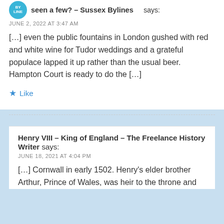seen a few? - Sussex Bylines says:
JUNE 2, 2022 AT 3:47 AM
[…] even the public fountains in London gushed with red and white wine for Tudor weddings and a grateful populace lapped it up rather than the usual beer. Hampton Court is ready to do the […]
Like
Henry VIII – King of England – The Freelance History Writer says:
JUNE 18, 2021 AT 4:04 PM
[…] Cornwall in early 1502. Henry's elder brother Arthur, Prince of Wales, was heir to the throne and